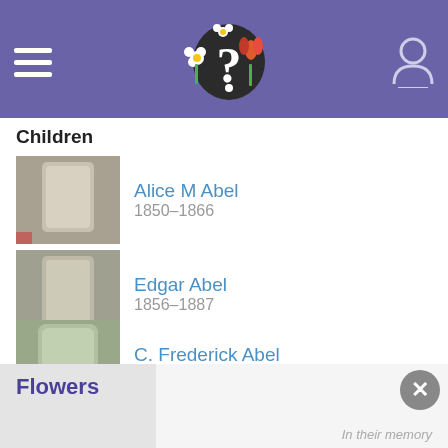Navigation header with hamburger menu, logo, and user icon
Children
Alice M Abel, 1850–1866
Edgar Abel, 1856–1887
C. Frederick Abel, 1858–1893
Nellie L. Abel Bowen, 1862–1912
Elizabeth B. Abel Bowen, 1868–1906
Flowers
In their memory